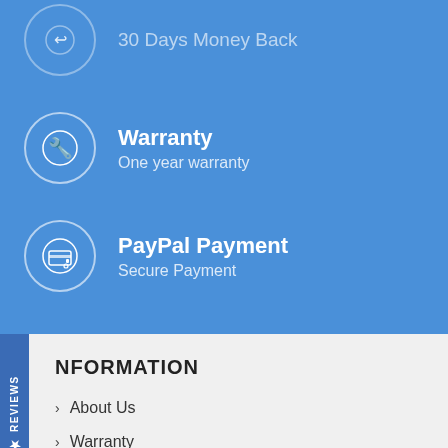30 Days Money Back
Warranty — One year warranty
PayPal Payment — Secure Payment
INFORMATION
About Us
Warranty
Terms of Use
Privacy Policy
CUSTOMER SERVICE
Shopping Guide